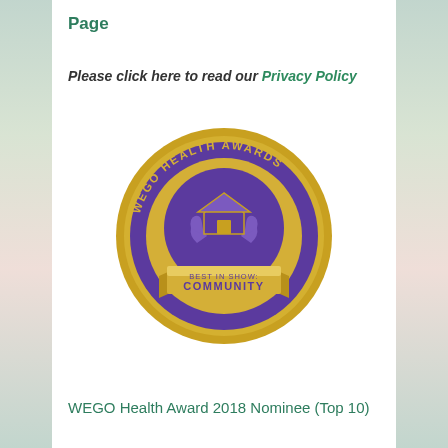Page
Please click here to read our Privacy Policy
[Figure (logo): WEGO Health Awards badge - circular gold and purple medallion with text 'WEGO HEALTH AWARDS' around the edge, a house/community icon in the center, and a gold ribbon banner reading 'BEST IN SHOW: COMMUNITY']
WEGO Health Award 2018 Nominee (Top 10)